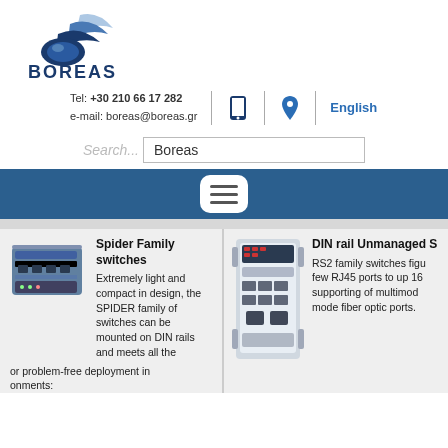[Figure (logo): Boreas company logo with blue wing/chevron shapes above text BOREAS]
Tel: +30 210 66 17 282
e-mail: boreas@boreas.gr
English
Search... Boreas
Spider Family switches
Extremely light and compact in design, the SPIDER family of switches can be mounted on DIN rails and meets all the or problem-free deployment in onments:
[Figure (photo): Photo of Spider family network switches, blue/grey industrial switches]
DIN rail  Unmanaged S
RS2 family switches figu few RJ45 ports to up 16 supporting  of  multimod mode fiber optic ports.
[Figure (photo): Photo of DIN rail unmanaged switch, white/grey industrial network switch unit]